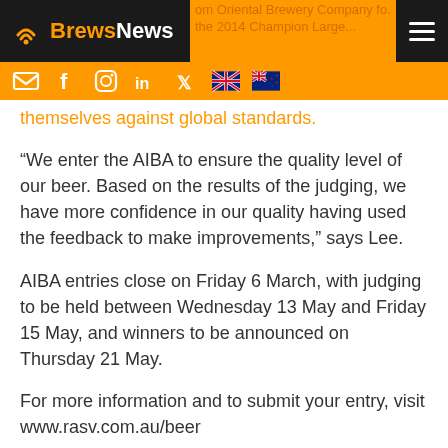BrewsNews
themselves against global standards.
“We enter the AIBA to ensure the quality level of our beer. Based on the results of the judging, we have more confidence in our quality having used the feedback to make improvements,” says Lee.
AIBA entries close on Friday 6 March, with judging to be held between Wednesday 13 May and Friday 15 May, and winners to be announced on Thursday 21 May.
For more information and to submit your entry, visit www.rasv.com.au/beer